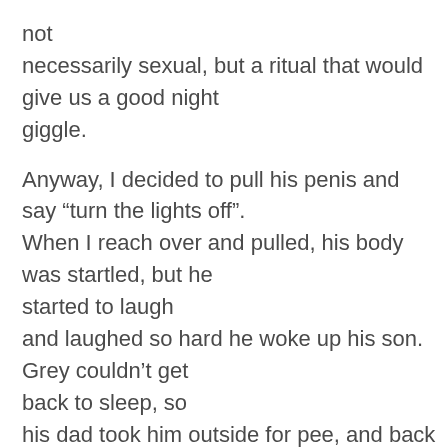not necessarily sexual, but a ritual that would give us a good night giggle.
Anyway, I decided to pull his penis and say “turn the lights off”. When I reach over and pulled, his body was startled, but he started to laugh and laughed so hard he woke up his son. Grey couldn’t get back to sleep, so his dad took him outside for pee, and back into bed where he started making up some story.
When he returned, he lifted his k** up on the top bunk, but time put one foot up on my bed while he started to tell the story.